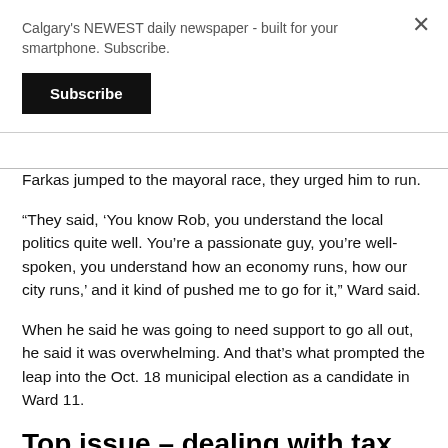Calgary's NEWEST daily newspaper - built for your smartphone. Subscribe.
Subscribe
Farkas jumped to the mayoral race, they urged him to run.
“They said, ‘You know Rob, you understand the local politics quite well. You’re a passionate guy, you’re well-spoken, you understand how an economy runs, how our city runs,’ and it kind of pushed me to go for it,” Ward said.
When he said he was going to need support to go all out, he said it was overwhelming. And that’s what prompted the leap into the Oct. 18 municipal election as a candidate in Ward 11.
Top issue – dealing with tax issue
Ward said the tax shift is still a serious issue. It will be for some